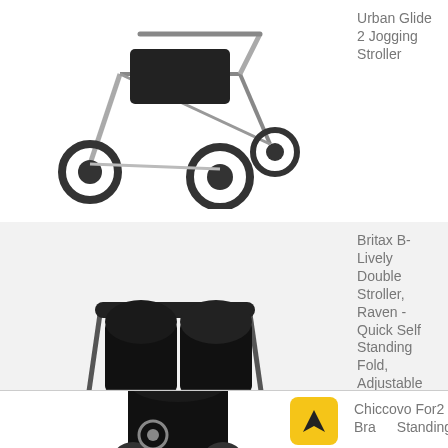[Figure (photo): Double jogging stroller with large wheels, silver frame, black seat, top view angle on white background]
Urban Glide 2 Jogging Stroller
[Figure (photo): Britax B-Lively black double stroller with two black seats, compact frame, small wheels, on light gray background]
Britax B-Lively Double Stroller, Raven - Quick Self Standing Fold, Adjustable Handlebar, All Wheel Suspension
[Figure (photo): Chicco Bravo For2 LE standing/sit-and-stand stroller, black color, partial view on white background]
Chicco Bravo For2 LE Standing/S